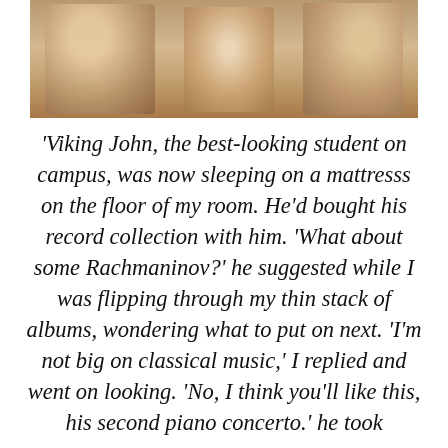[Figure (photo): Sepia-toned photograph showing people, partially visible at the top of the page]
'Viking John, the best-looking student on campus, was now sleeping on a mattresss on the floor of my room. He'd bought his record collection with him. 'What about some Rachmaninov?' he suggested while I was flipping through my thin stack of albums, wondering what to put on next. 'I'm not big on classical music,' I replied and went on looking. 'No, I think you'll like this, his second piano concerto.' he took